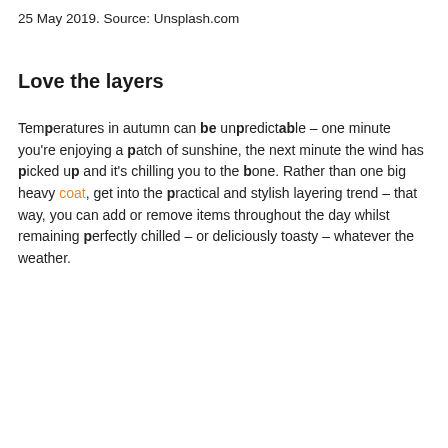25 May 2019. Source: Unsplash.com
Love the layers
Temperatures in autumn can be unpredictable – one minute you're enjoying a patch of sunshine, the next minute the wind has picked up and it's chilling you to the bone. Rather than one big heavy coat, get into the practical and stylish layering trend – that way, you can add or remove items throughout the day whilst remaining perfectly chilled – or deliciously toasty – whatever the weather.